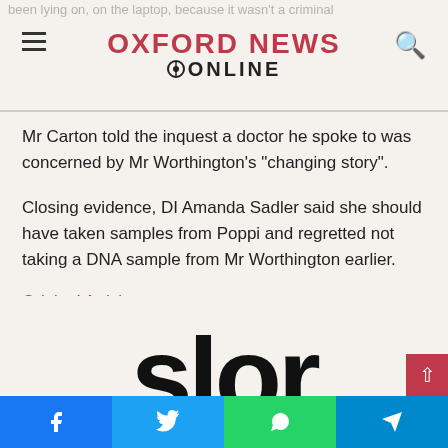OXFORD NEWS ONLINE
been lying on, on the laptop, because it wasn't a criminal
Mr Carton told the inquest a doctor he spoke to was concerned by Mr Worthington's "changing story".
Closing evidence, DI Amanda Sadler said she should have taken samples from Poppi and regretted not taking a DNA sample from Mr Worthington earlier.
Original Article
[contf]
[contfnew]
[Figure (logo): Large partial logo text at bottom of page]
Facebook | Twitter | WhatsApp | Telegram social share bar